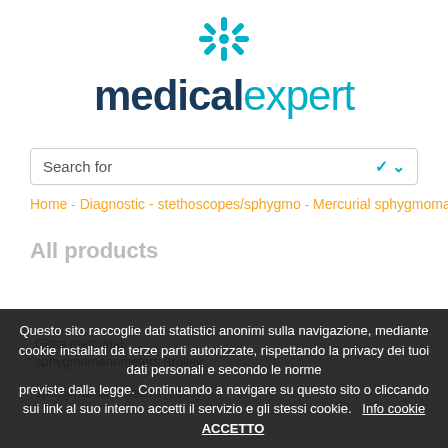[Figure (logo): MedicalExpert logo with teal caduceus snowflake icon above text 'medicalexpert' in dark navy and teal]
Search for
Home · Diagnostic - stethoscopes/sphygmo · Mercurial sphygmomanometers (troll...
All products
Gima mercurial sphygmomanometers (trolley,
sphygmomanometers (trolley,
Questo sito raccoglie dati statistici anonimi sulla navigazione, mediante cookie installati da terze parti autorizzate, rispettando la privacy dei tuoi dati personali e secondo le norme previste dalla legge. Continuando a navigare su questo sito o cliccando sui link al suo interno accetti il servizio e gli stessi cookie. Info cookie ACCETTO